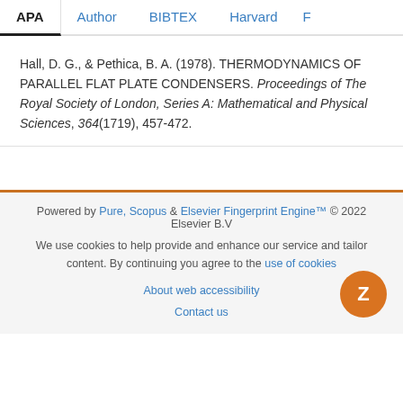APA  Author  BIBTEX  Harvard  F
Hall, D. G., & Pethica, B. A. (1978). THERMODYNAMICS OF PARALLEL FLAT PLATE CONDENSERS. Proceedings of The Royal Society of London, Series A: Mathematical and Physical Sciences, 364(1719), 457-472.
Powered by Pure, Scopus & Elsevier Fingerprint Engine™ © 2022 Elsevier B.V
We use cookies to help provide and enhance our service and tailor content. By continuing you agree to the use of cookies
About web accessibility
Contact us